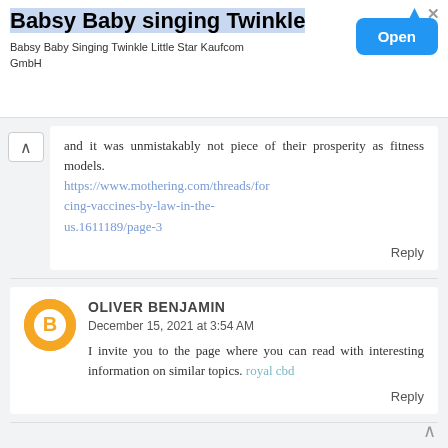[Figure (screenshot): Advertisement banner for 'Babsy Baby singing Twinkle' app by Kaufcom GmbH with an Open button]
and it was unmistakably not piece of their prosperity as fitness models. https://www.mothering.com/threads/forcing-vaccines-by-law-in-the-us.1611189/page-3
Reply
OLIVER BENJAMIN
December 15, 2021 at 3:54 AM
I invite you to the page where you can read with interesting information on similar topics. royal cbd
Reply